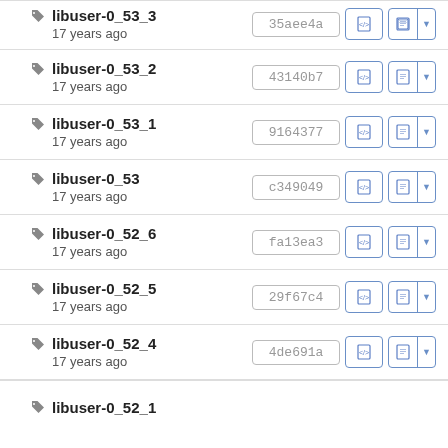libuser-0_53_3, 17 years ago, 35aee4a
libuser-0_53_2, 17 years ago, 43140b7
libuser-0_53_1, 17 years ago, 9164377
libuser-0_53, 17 years ago, c349049
libuser-0_52_6, 17 years ago, fa13ea3
libuser-0_52_5, 17 years ago, 29f67c4
libuser-0_52_4, 17 years ago, 4de691a
libuser-0_52_1, 17 years ago